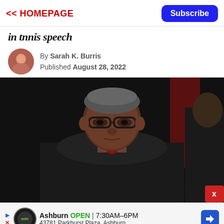<< HOMEPAGE | Subscribe
in tnnis speech
By Sarah K. Burris
Published August 28, 2022
[Figure (photo): Portrait photo of a Black man wearing glasses and a judge's black robe with a red tie, against a dark background. A partially visible second person in black robes is visible at the right edge.]
Ashburn OPEN 7:30AM–6PM
43781 Parkhurst Plaza, Ashburn